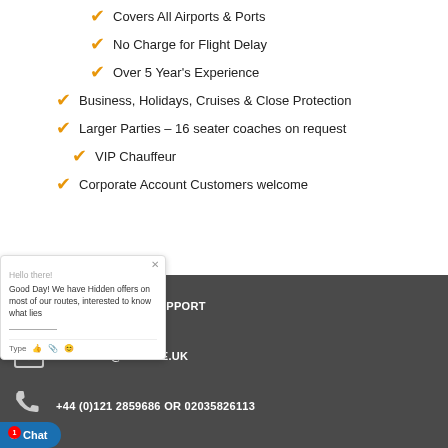Covers All Airports & Ports
No Charge for Flight Delay
Over 5 Year's Experience
Business, Holidays, Cruises & Close Protection
Larger Parties – 16 seater coaches on request
VIP Chauffeur
Corporate Account Customers welcome
24/7 CUSTOMER SUPPORT
BOOKING@MYTAXE.UK
+44 (0)121 2859686 OR 02035826113